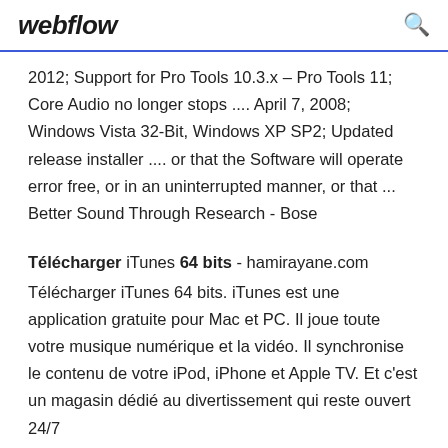webflow
2012; Support for Pro Tools 10.3.x – Pro Tools 11; Core Audio no longer stops .... April 7, 2008; Windows Vista 32-Bit, Windows XP SP2; Updated release installer .... or that the Software will operate error free, or in an uninterrupted manner, or that ... Better Sound Through Research - Bose
Télécharger iTunes 64 bits - hamirayane.com Télécharger iTunes 64 bits. iTunes est une application gratuite pour Mac et PC. Il joue toute votre musique numérique et la vidéo. Il synchronise le contenu de votre iPod, iPhone et Apple TV. Et c'est un magasin dédié au divertissement qui reste ouvert 24/7